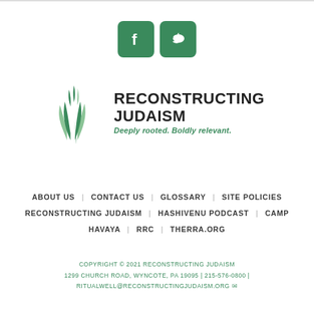[Figure (logo): Social media icons: Facebook (f) and Twitter (bird) as green rounded square buttons]
[Figure (logo): Reconstructing Judaism logo with green wheat/leaf plant illustration, bold text 'RECONSTRUCTING JUDAISM' and green italic tagline 'Deeply rooted. Boldly relevant.']
ABOUT US | CONTACT US | GLOSSARY | SITE POLICIES RECONSTRUCTING JUDAISM | HASHIVENU PODCAST | CAMP HAVAYA | RRC | THERRA.ORG
COPYRIGHT © 2021 RECONSTRUCTING JUDAISM
1299 CHURCH ROAD, WYNCOTE, PA 19095 | 215-576-0800 |
RITUALWELL@RECONSTRUCTINGJUDAISM.ORG ✉